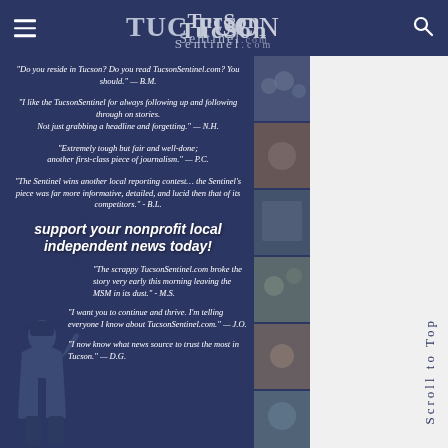TucsonSentinel.com — navigation bar with hamburger menu, logo, and search icon
[Figure (illustration): TucsonSentinel.com promotional advertisement panel with dark navy blue background, reader quotes in white italic text, bold call-to-action text 'support your nonprofit local independent news today!', a person figure silhouette at bottom left, and a photo collage strip on the right side.]
"Do you reside in Tucson? Do you read TucsonSentinel.com? You should." — B.M.
"I like the TucsonSentinel for always following up and following through on stories. Not just grabbing a headline and forgetting." — N.H.
"Extremely tough but fair and well-done; another first-class piece of journalism." — P.C.
"The Sentinel wins another local reporting contest… the Sentinel's piece was far more informative, detailed, and lucid then that of its competitors." - B.L.
support your nonprofit local independent news today!
"The scrappy TucsonSentinel.com broke the story very early this morning leaving the MSM in its dust." - M.S.
"I want you to continue and thrive. I'm telling everyone I know about TucsonSentinel.com." — J.O.
"I now know what news source to trust the most in Tucson." — D.G.
Scroll to Top